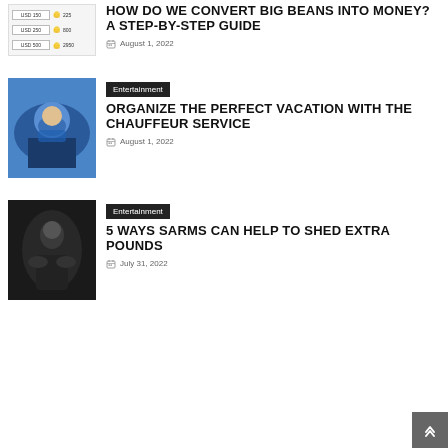[Figure (screenshot): Pricing table thumbnail with USD 150, USD 250, USD 500 rows and coin/star icons]
HOW DO WE CONVERT BIG BEANS INTO MONEY? A STEP-BY-STEP GUIDE
August 1, 2022
Entertainment
[Figure (photo): Man in blue jacket smiling in a car with passengers]
ORGANIZE THE PERFECT VACATION WITH THE CHAUFFEUR SERVICE
August 1, 2022
Entertainment
[Figure (photo): Black and white photo of muscular person in gym]
5 WAYS SARMS CAN HELP TO SHED EXTRA POUNDS
July 31, 2022